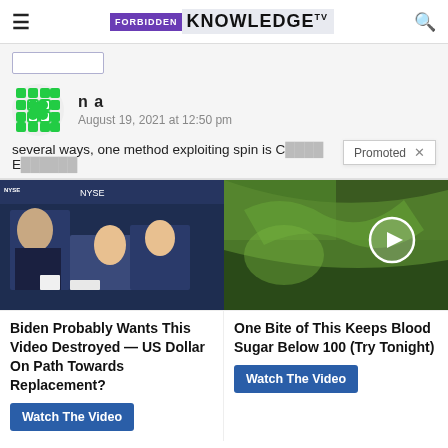FORBIDDEN KNOWLEDGE TV
n a
August 19, 2021 at 12:50 pm
several ways, one method exploiting spin is C...
[Figure (screenshot): Two ad thumbnails side by side: left shows people at NYSE studio, right shows green vegetable with play button overlay]
Biden Probably Wants This Video Destroyed — US Dollar On Path Towards Replacement?
One Bite of This Keeps Blood Sugar Below 100 (Try Tonight)